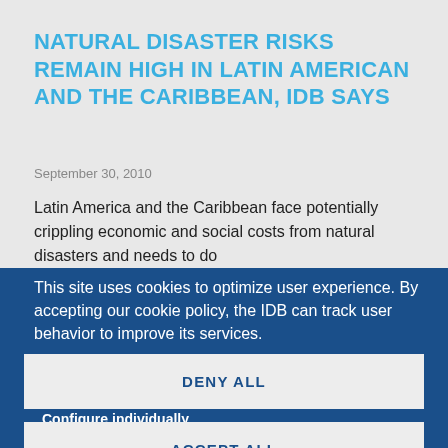NATURAL DISASTER RISKS REMAIN HIGH IN LATIN AMERICAN AND THE CARIBBEAN, IDB SAYS
September 30, 2010
Latin America and the Caribbean face potentially crippling economic and social costs from natural disasters and needs to do
This site uses cookies to optimize user experience. By accepting our cookie policy, the IDB can track user behavior to improve its services.
To learn more about cookies, click here
Configure individually
DENY ALL
ACCEPT ALL